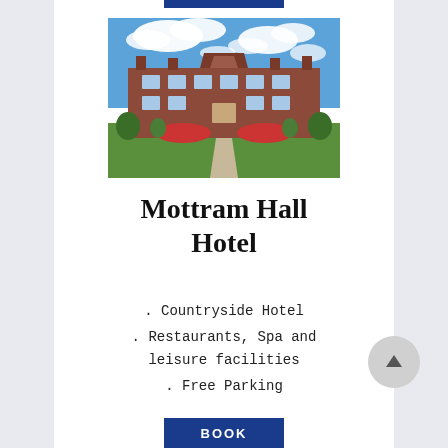[Figure (photo): Exterior photograph of Mottram Hall Hotel, a large Georgian-style red brick country house with manicured lawn and flower beds in front, under a bright blue cloudy sky.]
Mottram Hall Hotel
. Countryside Hotel
. Restaurants, Spa and leisure facilities
. Free Parking